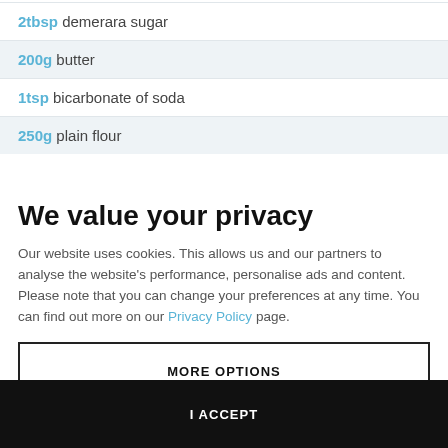2tbsp demerara sugar
200g butter
1tsp bicarbonate of soda
250g plain flour
We value your privacy
Our website uses cookies. This allows us and our partners to analyse the website's performance, personalise ads and content. Please note that you can change your preferences at any time. You can find out more on our Privacy Policy page.
MORE OPTIONS
I ACCEPT